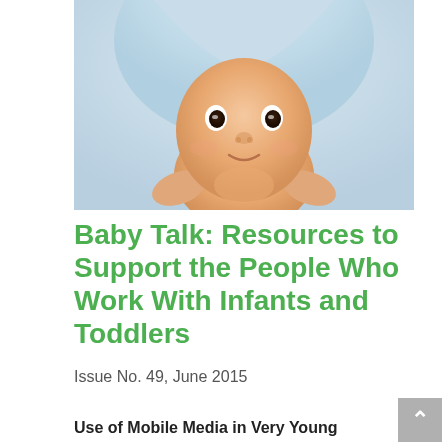[Figure (photo): A smiling baby with large dark eyes lying under a light blue hooded towel, looking upward at the camera.]
Baby Talk: Resources to Support the People Who Work With Infants and Toddlers
Issue No. 49, June 2015
Use of Mobile Media in Very Young